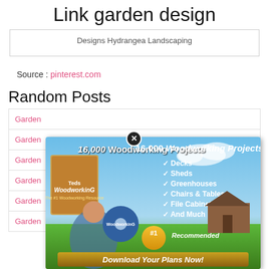Link garden design
Designs Hydrangea Landscaping
Source : pinterest.com
Random Posts
| Garden |
| Garden |
| Garden |
| Garden |
| Garden |
| Garden |
[Figure (illustration): Advertisement popup for Ted's Woodworking with 16,000 Woodworking Projects featuring a man holding woodworking tools, a product box, a DVD, a shed, and a Download Your Plans Now button. Features checklist: Decks, Sheds, Greenhouses, Chairs & Tables, File Cabinets, And Much More. #1 Recommended badge shown.]
❌ (close button)